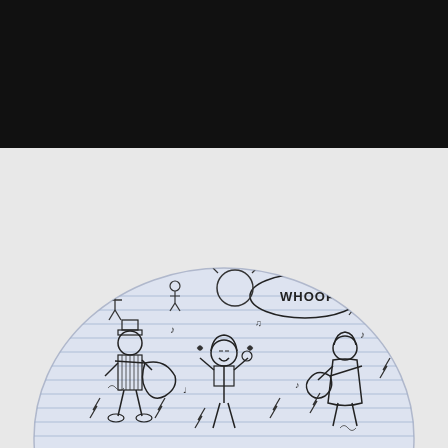WHOOP
[Figure (illustration): A circular hand-drawn sketch on lined notebook paper showing three cartoon musician figures playing instruments (guitar, bass) with a singer in the center. Musical notes, lightning bolts, and other doodles surround the figures. The word 'WHOOP!' appears in a speech bubble or text above the central figure. The illustration is rendered in black ink pen style.]